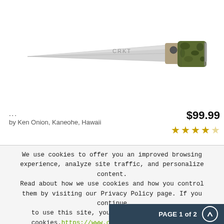[Figure (photo): A CRKT folding knife with a silver blade and camouflage-patterned handle, open position, on white background. The blade is engraved with 'CRKT'.]
...
$99.99
by Ken Onion, Kaneohe, Hawaii
★★★★☆
We use cookies to offer you an improved browsing experience, analyze site traffic, and personalize content. Read about how we use cookies and how you control them by visiting our Privacy Policy page. If you continue to use this site, you consent to our use of cookies.https://www.crkt.com/privacy-policy
CLOSE
ACCEPT
PAGE 1 of 2